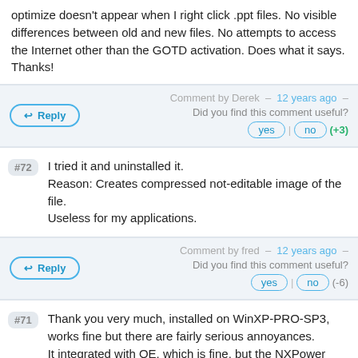optimize doesn't appear when I right click .ppt files. No visible differences between old and new files. No attempts to access the Internet other than the GOTD activation. Does what it says. Thanks!
Comment by Derek – 12 years ago – Did you find this comment useful? yes | no (+3)
#72 I tried it and uninstalled it.
Reason: Creates compressed not-editable image of the file.
Useless for my applications.
Comment by fred – 12 years ago – Did you find this comment useful? yes | no (-6)
#71 Thank you very much, installed on WinXP-PRO-SP3, works fine but there are fairly serious annoyances.
It integrated with OE, which is fine, but the NXPower Light adds a tool bar to the OE message form, which is